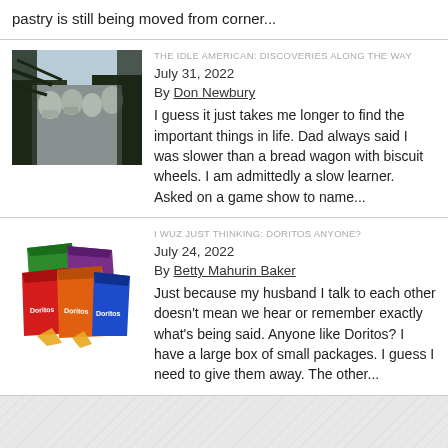pastry is still being moved from corner...
THE IDLE AMERICAN: DISCOVERIES ALONG THE WAY
July 31, 2022
By Don Newbury
I guess it just takes me longer to find the important things in life. Dad always said I was slower than a bread wagon with biscuit wheels. I am admittedly a slow learner. Asked on a game show to name...
[Figure (photo): Black and white photo of Mount Rushmore with dark tree silhouettes in foreground]
I WUZ JUST THINKING: DORITOS ANYONE?
July 24, 2022
By Betty Mahurin Baker
Just because my husband I talk to each other doesn't mean we hear or remember exactly what's being said. Anyone like Doritos? I have a large box of small packages. I guess I need to give them away. The other...
[Figure (photo): Colorful image of multiple Doritos chip bags in green, purple, red, orange, and blue colors stacked together]